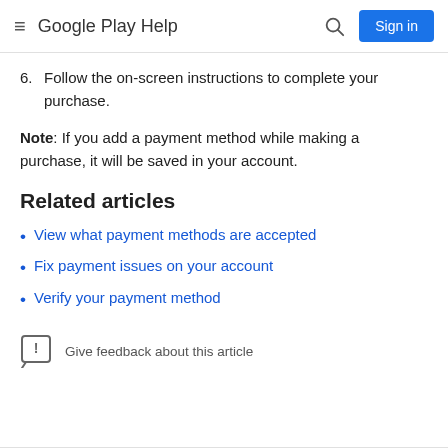Google Play Help
6.  Follow the on-screen instructions to complete your purchase.
Note: If you add a payment method while making a purchase, it will be saved in your account.
Related articles
View what payment methods are accepted
Fix payment issues on your account
Verify your payment method
Give feedback about this article